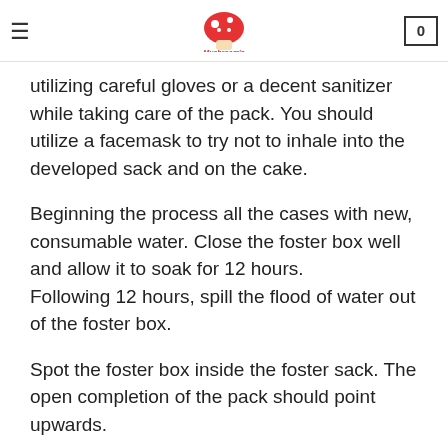Mushroom's
utilizing careful gloves or a decent sanitizer while taking care of the pack. You should utilize a facemask to try not to inhale into the developed sack and on the cake.
Beginning the process all the cases with new, consumable water. Close the foster box well and allow it to soak for 12 hours.
Following 12 hours, spill the flood of water out of the foster box.
Spot the foster box inside the foster sack. The open completion of the pack should point upwards.
Wipe out the cover from the foster box. Flush the top and store it in the holder box.
Wrinkle the open completion of the creating pack two times: